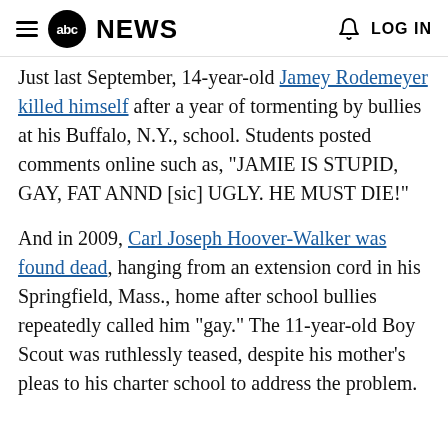abc NEWS  LOG IN
Just last September, 14-year-old Jamey Rodemeyer killed himself after a year of tormenting by bullies at his Buffalo, N.Y., school. Students posted comments online such as, "JAMIE IS STUPID, GAY, FAT ANND [sic] UGLY. HE MUST DIE!"
And in 2009, Carl Joseph Hoover-Walker was found dead, hanging from an extension cord in his Springfield, Mass., home after school bullies repeatedly called him "gay." The 11-year-old Boy Scout was ruthlessly teased, despite his mother's pleas to his charter school to address the problem.